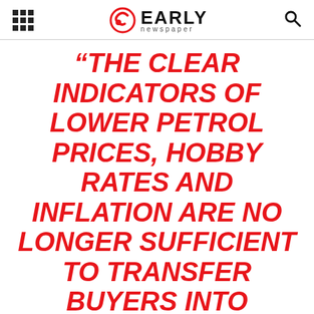EARLY newspaper
“THE CLEAR INDICATORS OF LOWER PETROL PRICES, HOBBY RATES AND INFLATION ARE NO LONGER SUFFICIENT TO TRANSFER BUYERS INTO UNUSUAL VEHICLE PURCHASES AT THIS STAGE, WITH USER SELF PERCEPTION LOW AS